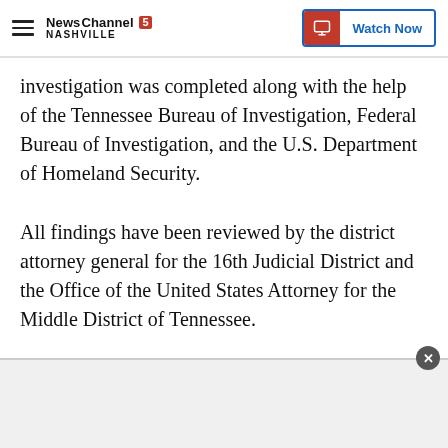NewsChannel 5 Nashville | Watch Now
investigation was completed along with the help of the Tennessee Bureau of Investigation, Federal Bureau of Investigation, and the U.S. Department of Homeland Security.
All findings have been reviewed by the district attorney general for the 16th Judicial District and the Office of the United States Attorney for the Middle District of Tennessee.